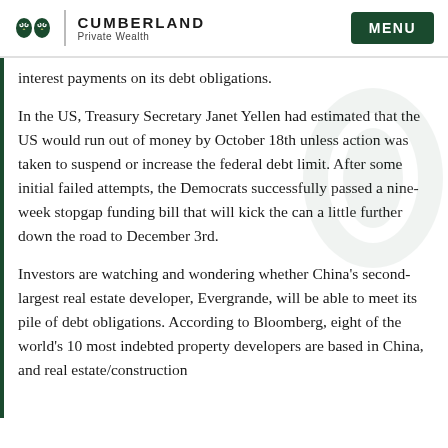CUMBERLAND Private Wealth | MENU
interest payments on its debt obligations.
In the US, Treasury Secretary Janet Yellen had estimated that the US would run out of money by October 18th unless action was taken to suspend or increase the federal debt limit. After some initial failed attempts, the Democrats successfully passed a nine-week stopgap funding bill that will kick the can a little further down the road to December 3rd.
Investors are watching and wondering whether China's second-largest real estate developer, Evergrande, will be able to meet its pile of debt obligations. According to Bloomberg, eight of the world's 10 most indebted property developers are based in China, and real estate/construction